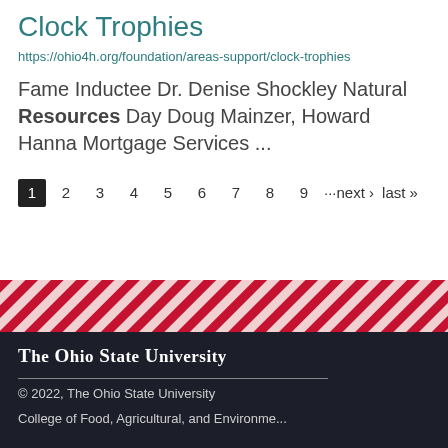Clock Trophies
https://ohio4h.org/foundation/areas-support/clock-trophies
Fame Inductee Dr. Denise Shockley Natural Resources Day Doug Mainzer, Howard Hanna Mortgage Services ...
1 2 3 4 5 6 7 8 9 ···next › last »
[Figure (other): Diagonal red and white striped banner decorative element]
The Ohio State University
© 2022, The Ohio State University
College of Food, Agricultural, and Environmental...